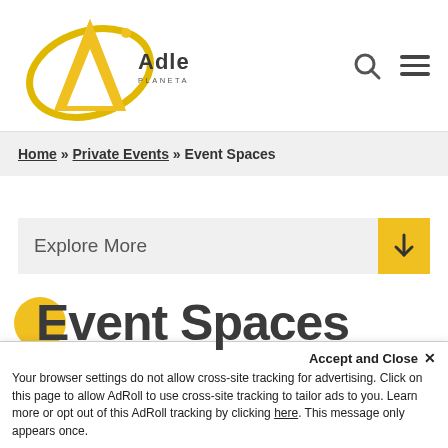[Figure (logo): Adler Planetarium logo with yellow stylized letter A and orbital ring, with 'Adler PLANETARIUM' text in dark gray]
Home » Private Events » Event Spaces
Explore More
Event Spaces
Accept and Close ×
Your browser settings do not allow cross-site tracking for advertising. Click on this page to allow AdRoll to use cross-site tracking to tailor ads to you. Learn more or opt out of this AdRoll tracking by clicking here. This message only appears once.